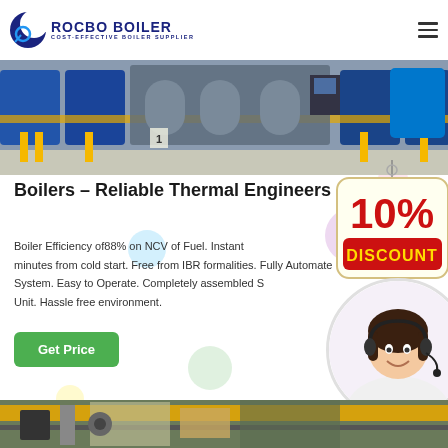[Figure (logo): Rocbo Boiler logo with crescent moon icon and text 'ROCBO BOILER / COST-EFFECTIVE BOILER SUPPLIER']
[Figure (photo): Industrial boiler room with multiple boilers, yellow and blue pipes and cylinders]
Boilers – Reliable Thermal Engineers
[Figure (illustration): 10% Discount badge hanging sign in red and yellow]
Boiler Efficiency of88% on NCV of Fuel. Instant minutes from cold start. Free from IBR formalities. Fully Automated System. Easy to Operate. Completely assembled Skid Unit. Hassle free environment.
[Figure (photo): Customer service representative woman with headset, smiling]
[Figure (photo): Industrial machinery/boiler equipment at bottom of page]